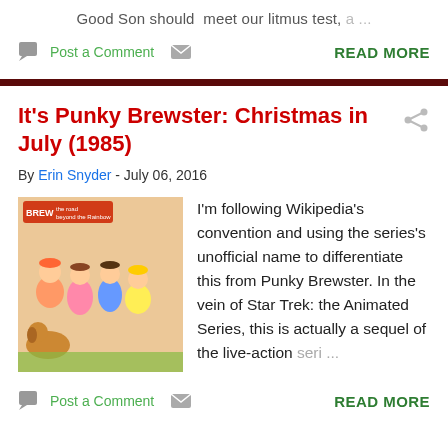Good Son should meet our litmus test, a ...
Post a Comment   READ MORE
It's Punky Brewster: Christmas in July (1985)
By Erin Snyder - July 06, 2016
[Figure (photo): Book or DVD cover for It's Punky Brewster animated series showing cartoon children characters]
I'm following Wikipedia's convention and using the series's unofficial name to differentiate this from Punky Brewster. In the vein of Star Trek: the Animated Series, this is actually a sequel of the live-action seri ...
Post a Comment   READ MORE